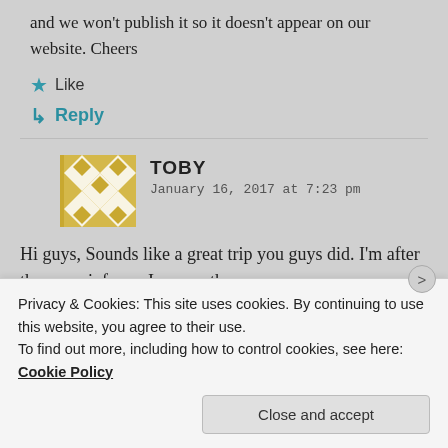and we won't publish it so it doesn't appear on our website. Cheers
Like
Reply
TOBY
January 16, 2017 at 7:23 pm
Hi guys, Sounds like a great trip you guys did. I'm after the same info r.e. Iran as others
Privacy & Cookies: This site uses cookies. By continuing to use this website, you agree to their use.
To find out more, including how to control cookies, see here: Cookie Policy
Close and accept